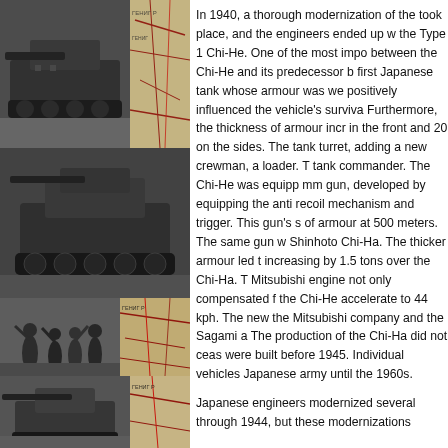[Figure (photo): Collage of four black-and-white historical photographs of Japanese tanks (Chi-He / Chi-Ha type) and soldiers, with a map background visible in some panels. Arranged in a 2x2 grid on the left side of the page.]
In 1940, a thorough modernization of the took place, and the engineers ended up w the Type 1 Chi-He. One of the most impo between the Chi-He and its predecessor b first Japanese tank whose armour was we positively influenced the vehicle's surviva Furthermore, the thickness of armour incr in the front and 20 on the sides. The tank turret, adding a new crewman, a loader. T tank commander. The Chi-He was equipp mm gun, developed by equipping the anti recoil mechanism and trigger. This gun's s of armour at 500 meters. The same gun w Shinhoto Chi-Ha. The thicker armour led t increasing by 1.5 tons over the Chi-Ha. T Mitsubishi engine not only compensated f the Chi-He accelerate to 44 kph. The new the Mitsubishi company and the Sagami a The production of the Chi-Ha did not ceas were built before 1945. Individual vehicles Japanese army until the 1960s.

Japanese engineers modernized several through 1944, but these modernizations